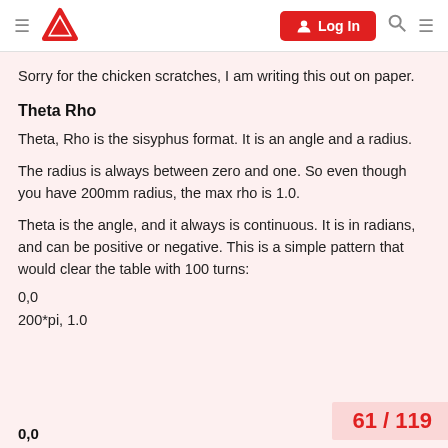Log In
Sorry for the chicken scratches, I am writing this out on paper.
Theta Rho
Theta, Rho is the sisyphus format. It is an angle and a radius.
The radius is always between zero and one. So even though you have 200mm radius, the max rho is 1.0.
Theta is the angle, and it always is continuous. It is in radians, and can be positive or negative. This is a simple pattern that would clear the table with 100 turns:
0,0
200*pi, 1.0
0,0
61 / 119